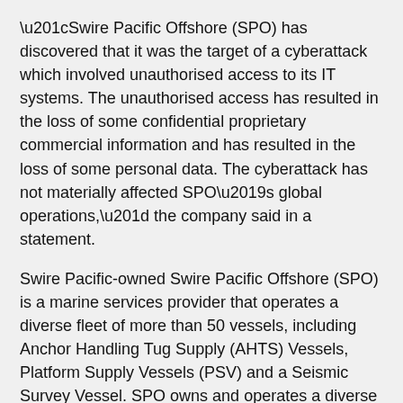“Swire Pacific Offshore (SPO) has discovered that it was the target of a cyberattack which involved unauthorised access to its IT systems. The unauthorised access has resulted in the loss of some confidential proprietary commercial information and has resulted in the loss of some personal data. The cyberattack has not materially affected SPO’s global operations,” the company said in a statement.
Swire Pacific-owned Swire Pacific Offshore (SPO) is a marine services provider that operates a diverse fleet of more than 50 vessels, including Anchor Handling Tug Supply (AHTS) Vessels, Platform Supply Vessels (PSV) and a Seismic Survey Vessel. SPO owns and operates a diverse fleet in every major oil exploration region outside of US Gulf of Mexico.
While the shipping provider did not provide additional details on the nature of the cyber intrusion or what amount of data was stolen, it noted that it reported the incident to the relevant authorities and is contacting potentially affected parties to inform them about the incident.
SPO has not confirmed if the attack involved ransomware, but the Clop ransomware group claimed the responsibility for the breach...